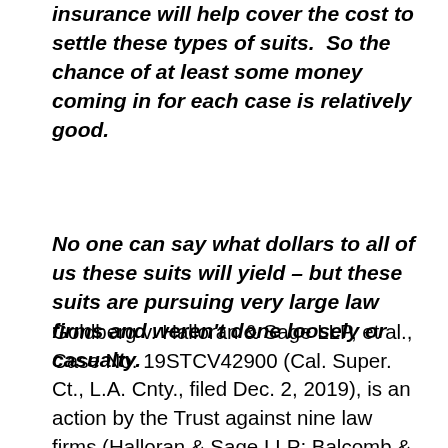insurance will help cover the cost to settle these types of suits.  So the chance of at least some money coming in for each case is relatively good.
No one can say what dollars to all of us these suits will yield – but these suits are pursuing very large law firms and weren't done loosely or casualty.
Goldberg v. Halloran & Sage LLP, et al., Case No. 19STCV42900 (Cal. Super. Ct., L.A. Cnty., filed Dec. 2, 2019), is an action by the Trust against nine law firms (Halloran & Sage LLP; Balcomb &